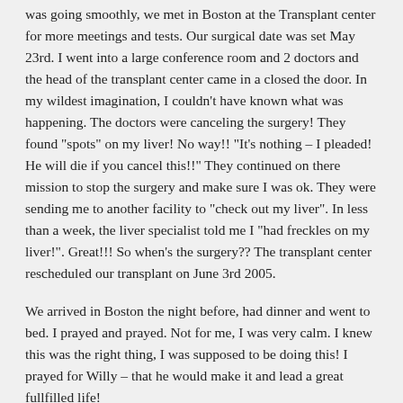was going smoothly, we met in Boston at the Transplant center for more meetings and tests.  Our surgical date was set May 23rd.  I went into a large conference room and 2 doctors and the head of the transplant center came in a closed the door.  In my wildest imagination, I couldn't have known what was happening.  The doctors were canceling the surgery! They found "spots" on my liver! No way!! "It's nothing – I pleaded! He will die if you cancel this!!" They continued on there mission to stop the surgery and make sure I was ok.  They were sending me to another facility to "check out my liver".  In less than a week, the liver specialist told me I "had freckles on my liver!". Great!!!  So when's the surgery?? The transplant center rescheduled our transplant on June 3rd 2005.
We arrived in Boston the night before, had dinner and went to bed.  I prayed and prayed. Not for me, I was very calm. I knew this was the right thing, I was supposed to be doing this!  I prayed for Willy – that he would make it and lead a great fullfilled life!
The day of surgery arrived – a hug, a kiss, a "I love you" and we were